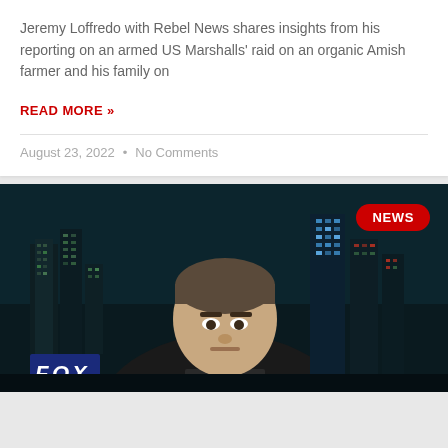Jeremy Loffredo with Rebel News shares insights from his reporting on an armed US Marshalls' raid on an organic Amish farmer and his family on
READ MORE »
August 23, 2022  •  No Comments
[Figure (photo): A man in a suit seen from the chest up against a dark city skyline backdrop at night, with a NEWS badge in red in the upper right corner and a Fox News logo visible in the lower left.]